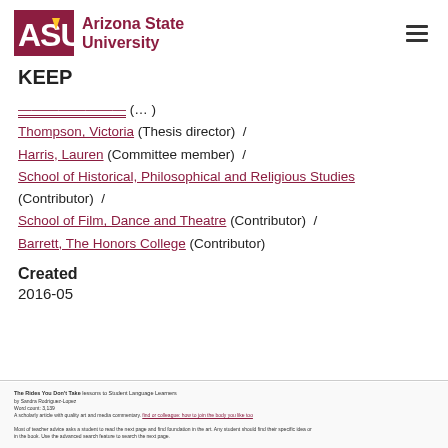ASU Arizona State University | KEEP
[partially visible link] (... /)
Thompson, Victoria (Thesis director) /
Harris, Lauren (Committee member) /
School of Historical, Philosophical and Religious Studies (Contributor) /
School of Film, Dance and Theatre (Contributor) /
Barrett, The Honors College (Contributor)
Created
2016-05
[Figure (screenshot): Small thumbnail preview of a document page titled 'The Rides You Don't Take' with small body text and a hyperlink.]